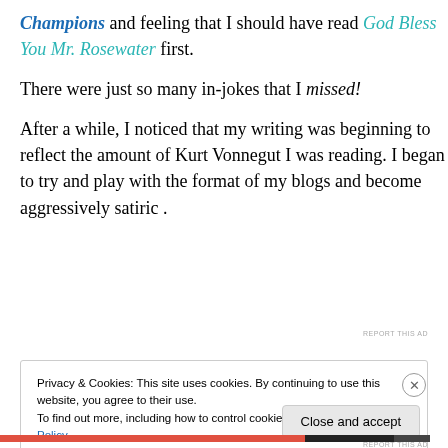Champions and feeling that I should have read God Bless You Mr. Rosewater first.
There were just so many in-jokes that I missed!
After a while, I noticed that my writing was beginning to reflect the amount of Kurt Vonnegut I was reading. I began to try and play with the format of my blogs and become aggressively satiric .
REPORT THIS AD
Privacy & Cookies: This site uses cookies. By continuing to use this website, you agree to their use.
To find out more, including how to control cookies, see here: Cookie Policy
Close and accept